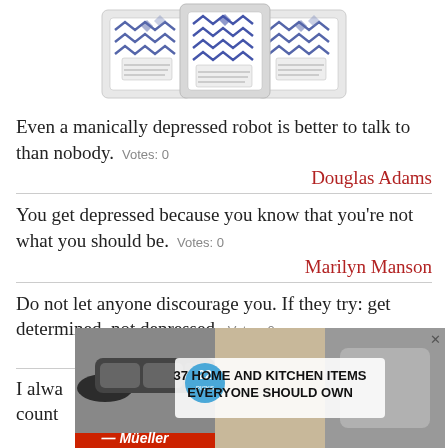[Figure (photo): Product image showing packets with blue geometric/chevron pattern, displayed at top of page]
Even a manically depressed robot is better to talk to than nobody.  Votes: 0
Douglas Adams
You get depressed because you know that you're not what you should be.  Votes: 0
Marilyn Manson
Do not let anyone discourage you. If they try: get determined, not depressed.  Votes: 0
[Figure (photo): Advertisement overlay showing kitchen knife sharpener with text '37 HOME AND KITCHEN ITEMS EVERYONE SHOULD OWN' and Mueller brand logo, with a circular badge showing '22']
Blume
I alwa... count...